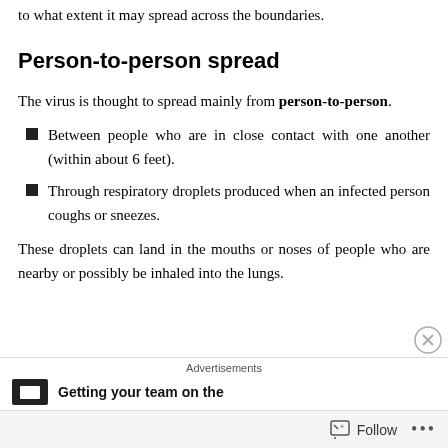to what extent it may spread across the boundaries.
Person-to-person spread
The virus is thought to spread mainly from person-to-person.
Between people who are in close contact with one another (within about 6 feet).
Through respiratory droplets produced when an infected person coughs or sneezes.
These droplets can land in the mouths or noses of people who are nearby or possibly be inhaled into the lungs.
Advertisements  Getting your team on the
Follow ...